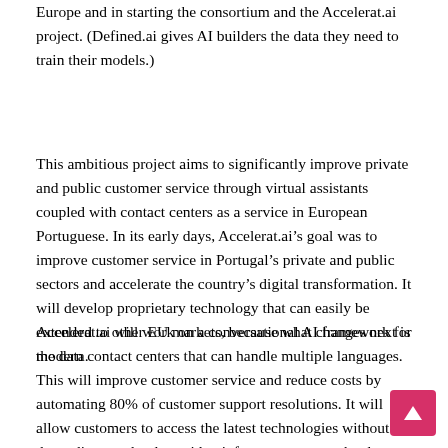Europe and in starting the consortium and the Accelerat.ai project. (Defined.ai gives AI builders the data they need to train their models.)
This ambitious project aims to significantly improve private and public customer service through virtual assistants coupled with contact centers as a service in European Portuguese. In its early days, Accelerat.ai’s goal was to improve customer service in Portugal’s private and public sectors and accelerate the country’s digital transformation. It will develop proprietary technology that can easily be extended to other EU markets, because what changes next is the data.
Accelerat.ai will work on a conversational AI framework for modern contact centers that can handle multiple languages. This will improve customer service and reduce costs by automating 80% of customer support resolutions. It will allow customers to access the latest technologies without depending on cloud provider, infrastructure or technology. Customers will be able to choose which ASR, NLU or TTS suits them best. The